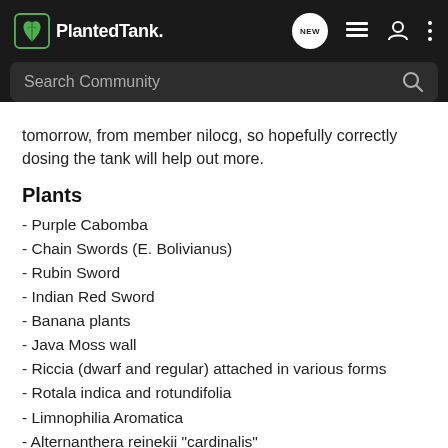PlantedTank — nav bar with NEW, list, user, and menu icons; Search Community search bar
tomorrow, from member nilocg, so hopefully correctly dosing the tank will help out more.
Plants
- Purple Cabomba
- Chain Swords (E. Bolivianus)
- Rubin Sword
- Indian Red Sword
- Banana plants
- Java Moss wall
- Riccia (dwarf and regular) attached in various forms
- Rotala indica and rotundifolia
- Limnophilia Aromatica
- Alternanthera reinekii "cardinalis"
- Brazilian pennywort (floating)